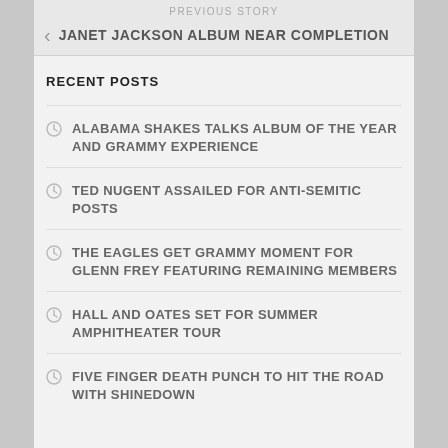PREVIOUS STORY
JANET JACKSON ALBUM NEAR COMPLETION
RECENT POSTS
ALABAMA SHAKES TALKS ALBUM OF THE YEAR AND GRAMMY EXPERIENCE
TED NUGENT ASSAILED FOR ANTI-SEMITIC POSTS
THE EAGLES GET GRAMMY MOMENT FOR GLENN FREY FEATURING REMAINING MEMBERS
HALL AND OATES SET FOR SUMMER AMPHITHEATER TOUR
FIVE FINGER DEATH PUNCH TO HIT THE ROAD WITH SHINEDOWN